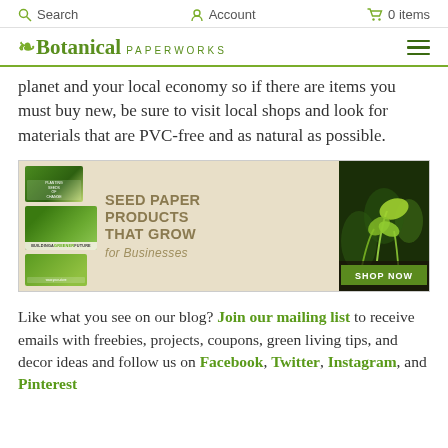Search  Account  0 items
[Figure (logo): Botanical Paperworks logo with leaf icon and hamburger menu]
planet and your local economy so if there are items you must buy new, be sure to visit local shops and look for materials that are PVC-free and as natural as possible.
[Figure (infographic): Seed paper products advertisement banner: 'SEED PAPER PRODUCTS THAT GROW for Businesses' with SHOP NOW button and green sprout photo]
Like what you see on our blog? Join our mailing list to receive emails with freebies, projects, coupons, green living tips, and decor ideas and follow us on Facebook, Twitter, Instagram, and Pinterest